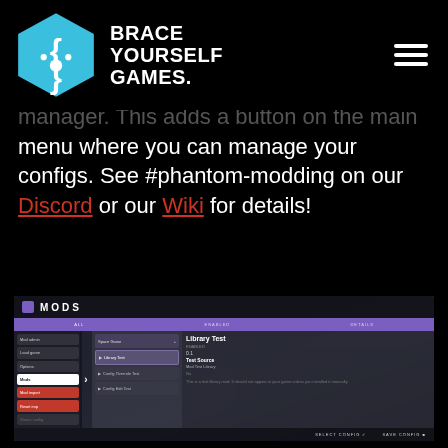Brace Yourself Games.
... manager. This adds a button on the main menu where you can manage your configs. See #phantom-modding on our Discord or our Wiki for details!
[Figure (screenshot): Screenshot of a MODS menu UI in a video game, showing a mod manager interface with sidebar navigation, mod list panel, and detail panel. Purple header bar with tabs labeled ALL, ENABLED, DETAILS. Left sidebar shows items including Mods, Load game, Options, with red highlighted items. Center panel shows Library Test mod selected. Right panel shows Library Test details.]